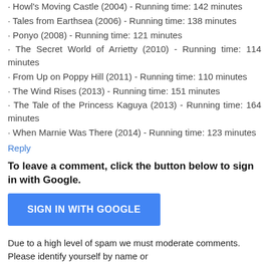· Howl's Moving Castle (2004) - Running time: 142 minutes
· Tales from Earthsea (2006) - Running time: 138 minutes
· Ponyo (2008) - Running time: 121 minutes
· The Secret World of Arrietty (2010) - Running time: 114 minutes
· From Up on Poppy Hill (2011) - Running time: 110 minutes
· The Wind Rises (2013) - Running time: 151 minutes
· The Tale of the Princess Kaguya (2013) - Running time: 164 minutes
· When Marnie Was There (2014) - Running time: 123 minutes
Reply
To leave a comment, click the button below to sign in with Google.
SIGN IN WITH GOOGLE
Due to a high level of spam we must moderate comments. Please identify yourself by name or